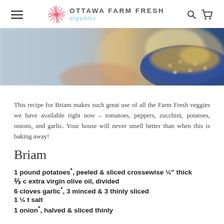OTTAWA FARM FRESH organics
[Figure (photo): Partial top view of a colorful dish in a blue patterned bowl, blurred background with vegetables]
This recipe for Briam makes such great use of all the Farm Fresh veggies we have available right now – tomatoes, peppers, zucchini, potatoes, onions, and garlic. Your house will never smell better than when this is baking away!
Briam
1 pound potatoes*, peeled & sliced crossewise ¼" thick
⅔ c extra virgin olive oil, divided
6 cloves garlic*, 3 minced & 3 thinly sliced
1 ¼ t salt
1 onion*, halved & sliced thinly